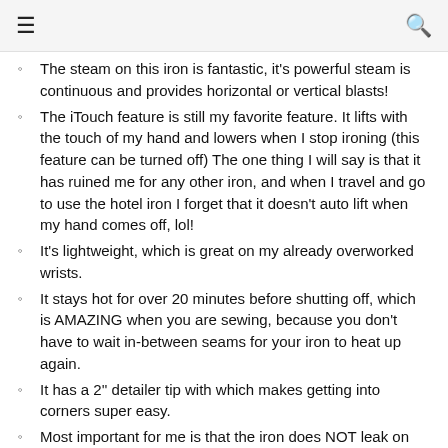≡  🔍
The steam on this iron is fantastic, it's powerful steam is continuous and provides horizontal or vertical blasts!
The iTouch feature is still my favorite feature. It lifts with the touch of my hand and lowers when I stop ironing (this feature can be turned off) The one thing I will say is that it has ruined me for any other iron, and when I travel and go to use the hotel iron I forget that it doesn't auto lift when my hand comes off, lol!
It's lightweight, which is great on my already overworked wrists.
It stays hot for over 20 minutes before shutting off, which is AMAZING when you are sewing, because you don't have to wait in-between seams for your iron to heat up again.
It has a 2'' detailer tip with which makes getting into corners super easy.
Most important for me is that the iron does NOT leak on me! every iron I have owned at one point or another has started to leak or drip water while ironing. It's been over a year now and it has yet to leak on me.
I have had so many irons and have even used the gravity feed